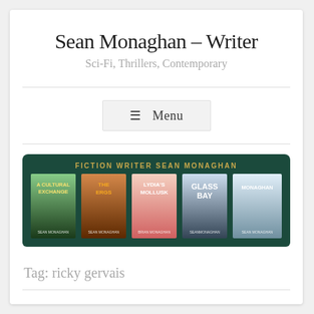Sean Monaghan – Writer
Sci-Fi, Thrillers, Contemporary
≡ Menu
[Figure (illustration): Banner image for Sean Monaghan fiction writer website showing five book covers: A Cultural Exchange, The Ergs, Lydia's Mollusk, Glass Bay, and a fifth title, on a dark green background with text 'FICTION WRITER SEAN MONAGHAN']
Tag: ricky gervais